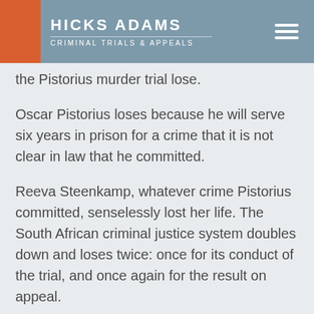HICKS ADAMS — CRIMINAL TRIALS & APPEALS
the Pistorius murder trial lose.
Oscar Pistorius loses because he will serve six years in prison for a crime that it is not clear in law that he committed.
Reeva Steenkamp, whatever crime Pistorius committed, senselessly lost her life. The South African criminal justice system doubles down and loses twice: once for its conduct of the trial, and once again for the result on appeal.
And South Africa loses because its global